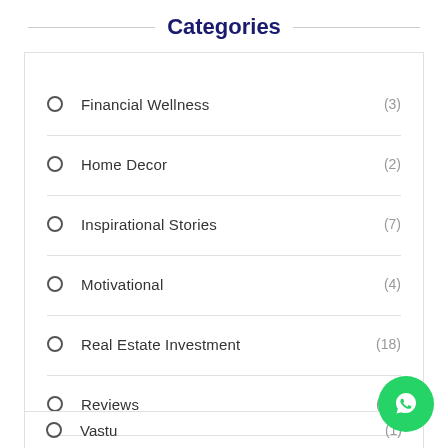Categories
Financial Wellness (3)
Home Decor (2)
Inspirational Stories (7)
Motivational (4)
Real Estate Investment (18)
Reviews (12)
Social Media
Vastu (1)
[Figure (logo): WhatsApp contact button (green circle with phone icon)]